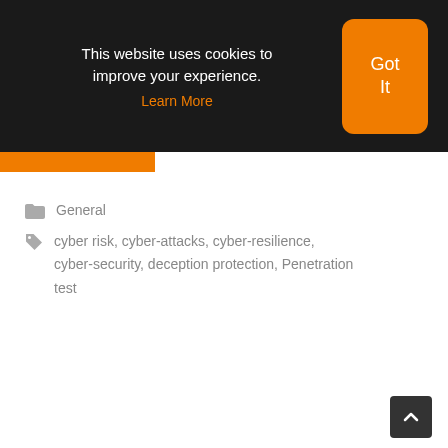This website uses cookies to improve your experience. Learn More
Got It
General
cyber risk, cyber-attacks, cyber-resilience, cyber-security, deception protection, Penetration test